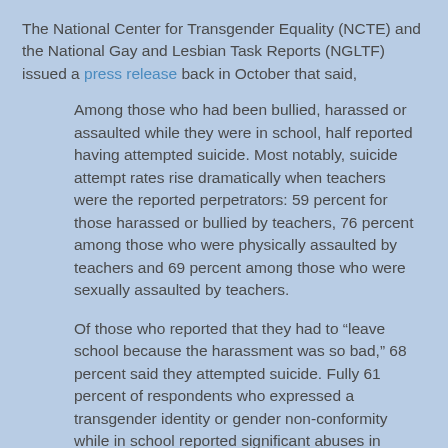The National Center for Transgender Equality (NCTE) and the National Gay and Lesbian Task Reports (NGLTF) issued a press release back in October that said,
Among those who had been bullied, harassed or assaulted while they were in school, half reported having attempted suicide. Most notably, suicide attempt rates rise dramatically when teachers were the reported perpetrators: 59 percent for those harassed or bullied by teachers, 76 percent among those who were physically assaulted by teachers and 69 percent among those who were sexually assaulted by teachers.
Of those who reported that they had to “leave school because the harassment was so bad,” 68 percent said they attempted suicide. Fully 61 percent of respondents who expressed a transgender identity or gender non-conformity while in school reported significant abuses in educational settings. From elementary through graduate school, the survey showed high levels